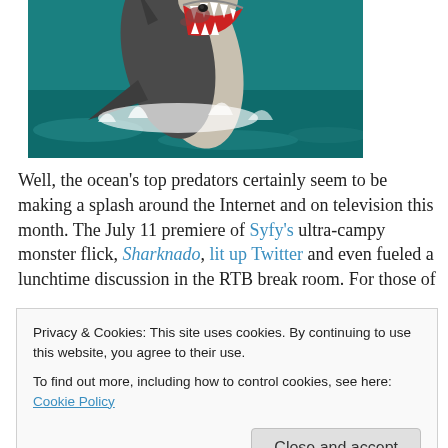[Figure (photo): A great white shark leaping out of teal ocean water with mouth open, water splashing around it.]
Well, the ocean's top predators certainly seem to be making a splash around the Internet and on television this month. The July 11 premiere of Syfy's ultra-campy monster flick, Sharknado, lit up Twitter and even fueled a lunchtime discussion in the RTB break room. For those of
Privacy & Cookies: This site uses cookies. By continuing to use this website, you agree to their use.
To find out more, including how to control cookies, see here: Cookie Policy
Close and accept